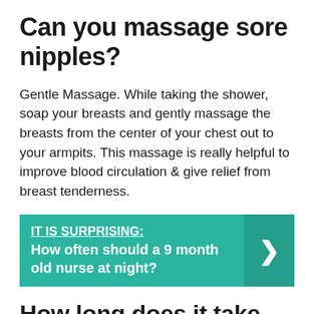Can you massage sore nipples?
Gentle Massage. While taking the shower, soap your breasts and gently massage the breasts from the center of your chest out to your armpits. This massage is really helpful to improve blood circulation & give relief from breast tenderness.
[Figure (infographic): Teal banner with bold white text reading 'IT IS SURPRISING: How often should a 9 month old nurse at night?' with a right-arrow chevron on the right side.]
How long does it take cracked nipples to heal?
Superficial...